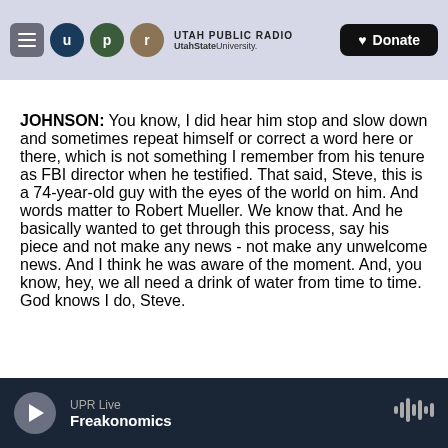Utah Public Radio — UtahState University — Donate
JOHNSON: You know, I did hear him stop and slow down and sometimes repeat himself or correct a word here or there, which is not something I remember from his tenure as FBI director when he testified. That said, Steve, this is a 74-year-old guy with the eyes of the world on him. And words matter to Robert Mueller. We know that. And he basically wanted to get through this process, say his piece and not make any news - not make any unwelcome news. And I think he was aware of the moment. And, you know, hey, we all need a drink of water from time to time. God knows I do, Steve.
UPR Live — Freakonomics